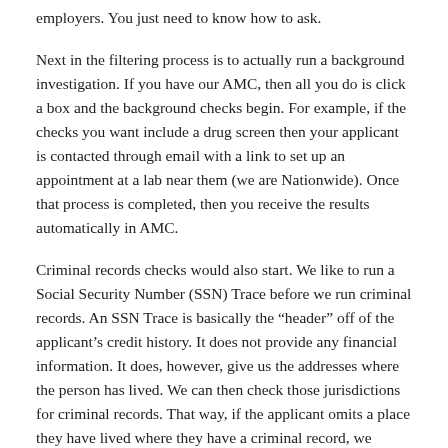employers. You just need to know how to ask.
Next in the filtering process is to actually run a background investigation. If you have our AMC, then all you do is click a box and the background checks begin. For example, if the checks you want include a drug screen then your applicant is contacted through email with a link to set up an appointment at a lab near them (we are Nationwide). Once that process is completed, then you receive the results automatically in AMC.
Criminal records checks would also start. We like to run a Social Security Number (SSN) Trace before we run criminal records. An SSN Trace is basically the “header” off of the applicant’s credit history. It does not provide any financial information. It does, however, give us the addresses where the person has lived. We can then check those jurisdictions for criminal records. That way, if the applicant omits a place they have lived where they have a criminal record, we should find it anyway. SSN Traces are VERY inexpensive to run. We do an actual “Court House” search, not some off-beat “database” masquerading as a records check. Many States allow for Statewide records checks (all counties & cities). But there are some that do not.